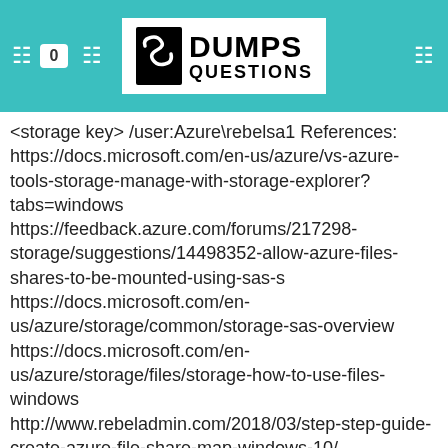DUMPS QUESTIONS
<storage key> /user:Azure\rebelsa1 References: https://docs.microsoft.com/en-us/azure/vs-azure-tools-storage-manage-with-storage-explorer?tabs=windows https://feedback.azure.com/forums/217298-storage/suggestions/14498352-allow-azure-files-shares-to-be-mounted-using-sas-s https://docs.microsoft.com/en-us/azure/storage/common/storage-sas-overview https://docs.microsoft.com/en-us/azure/storage/files/storage-how-to-use-files-windows http://www.rebeladmin.com/2018/03/step-step-guide-create-azure-file-share-map-windows-10/
NEW QUESTION: 2
[Figure (other): Small broken image placeholder icon]